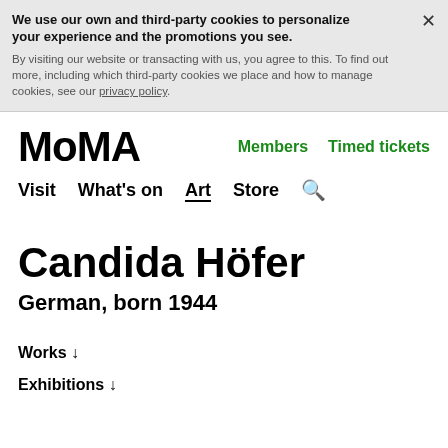We use our own and third-party cookies to personalize your experience and the promotions you see. By visiting our website or transacting with us, you agree to this. To find out more, including which third-party cookies we place and how to manage cookies, see our privacy policy.
MoMA | Members | Timed tickets
Visit  What's on  Art  Store  🔍
Candida Höfer
German, born 1944
Works ↓
Exhibitions ↓